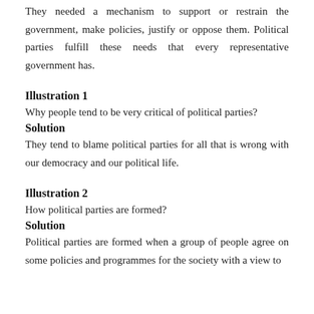They needed a mechanism to support or restrain the government, make policies, justify or oppose them. Political parties fulfill these needs that every representative government has.
Illustration 1
Why people tend to be very critical of political parties?
Solution
They tend to blame political parties for all that is wrong with our democracy and our political life.
Illustration 2
How political parties are formed?
Solution
Political parties are formed when a group of people agree on some policies and programmes for the society with a view to